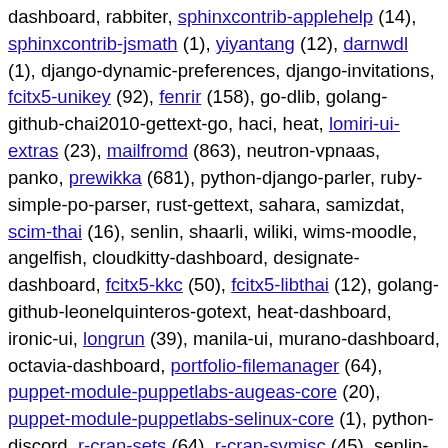dashboard, rabbiter, sphinxcontrib-applehelp (14), sphinxcontrib-jsmath (1), yiyantang (12), darnwdl (1), django-dynamic-preferences, django-invitations, fcitx5-unikey (92), fenrir (158), go-dlib, golang-github-chai2010-gettext-go, haci, heat, lomiri-ui-extras (23), mailfromd (863), neutron-vpnaas, panko, prewikka (681), python-django-parler, ruby-simple-po-parser, rust-gettext, sahara, samizdat, scim-thai (16), senlin, shaarli, wiliki, wims-moodle, angelfish, cloudkitty-dashboard, designate-dashboard, fcitx5-kkc (50), fcitx5-libthai (12), golang-github-leonelquinteros-gotext, heat-dashboard, ironic-ui, longrun (39), manila-ui, murano-dashboard, octavia-dashboard, portfolio-filemanager (64), puppet-module-puppetlabs-augeas-core (20), puppet-module-puppetlabs-selinux-core (1), python-discord, r-cran-sets (64), r-cran-svmisc (45), senlin-dashboard, translation-finder, trove-dashboard, tua (78), watcher-dashboard, zaqar-ui, couriergrey (22), fcitx5-keyman (5), fcitx5-sayura (4), flask-appbuilder (2), freezer-web-ui, icingaweb2-module-eventdb, ironic-inspector, lomiri-indicator-network (54), phosh-antispam,